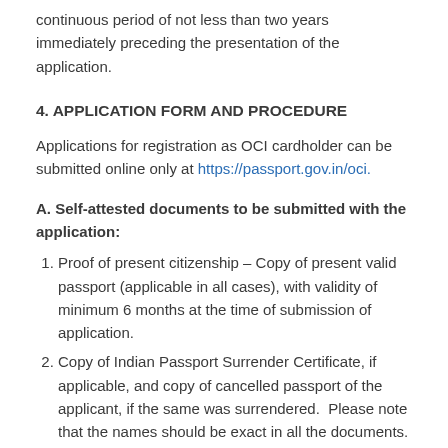continuous period of not less than two years immediately preceding the presentation of the application.
4. APPLICATION FORM AND PROCEDURE
Applications for registration as OCI cardholder can be submitted online only at https://passport.gov.in/oci.
A. Self-attested documents to be submitted with the application:
Proof of present citizenship – Copy of present valid passport (applicable in all cases), with validity of minimum 6 months at the time of submission of application.
Copy of Indian Passport Surrender Certificate, if applicable, and copy of cancelled passport of the applicant, if the same was surrendered.  Please note that the names should be exact in all the documents. If the spelling is different, a letter has to be obtained from the Home Department concerned